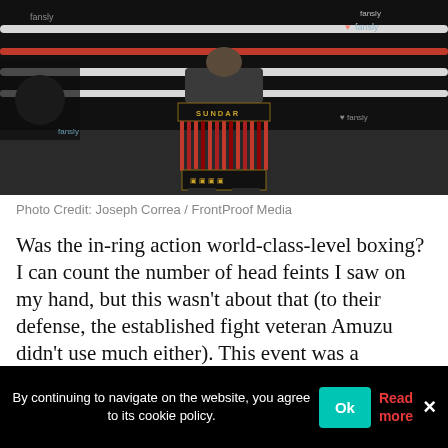[Figure (photo): A boxer standing in a boxing ring wearing red fringe shorts with 'SUNDAR' written on the waistband, black lower shorts with gold Greek key pattern. Fansly sponsor logos visible. Dark arena background.]
Photo Credit: Joseph Correa / FrontProof Media
Was the in-ring action world-class-level boxing? I can count the number of head feints I saw on my hand, but this wasn't about that (to their defense, the established fight veteran Amuzu didn't use much either). This event was a collection of popular content creators and their fanbase invested in whatever they do, coming together to
By continuing to navigate on the website, you agree to its cookie policy.